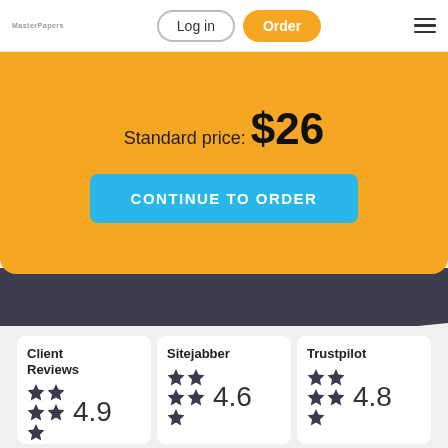MasterPapers  Log in  Order
Standard price: $26
CONTINUE TO ORDER
Client Reviews 4.9
Sitejabber 4.6
Trustpilot 4.8